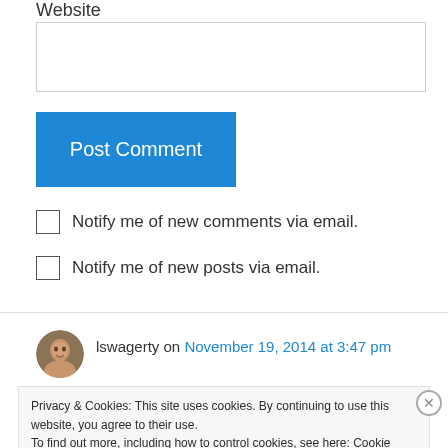Website
Post Comment
Notify me of new comments via email.
Notify me of new posts via email.
lswagerty on November 19, 2014 at 3:47 pm
Privacy & Cookies: This site uses cookies. By continuing to use this website, you agree to their use.
To find out more, including how to control cookies, see here: Cookie Policy
Close and accept